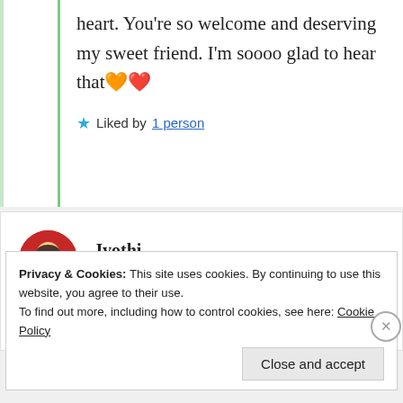heart. You’re so welcome and deserving my sweet friend. I’m soooo glad to hear that 🧡 ❤️
★ Liked by 1 person
Jyothi
24th Aug 2021 at 8:46 pm
Privacy & Cookies: This site uses cookies. By continuing to use this website, you agree to their use.
To find out more, including how to control cookies, see here: Cookie Policy
Close and accept